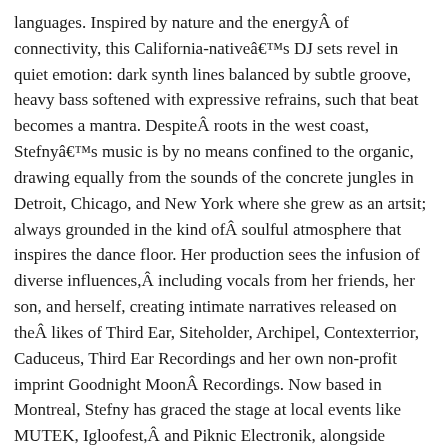languages. Inspired by nature and the energyÂ of connectivity, this California-nativeâ€™s DJ sets revel in quiet emotion: dark synth lines balanced by subtle groove, heavy bass softened with expressive refrains, such that beat becomes a mantra. DespiteÂ roots in the west coast, Stefnyâ€™s music is by no means confined to the organic, drawing equally from the sounds of the concrete jungles in Detroit, Chicago, and New York where she grew as an artsit; always grounded in the kind ofÂ soulful atmosphere that inspires the dance floor. Her production sees the infusion of diverse influences,Â including vocals from her friends, her son, and herself, creating intimate narratives released on theÂ likes of Third Ear, Siteholder, Archipel, Contexterrior, Caduceus, Third Ear Recordings and her own non-profit imprint Goodnight MoonÂ Recordings. Now based in Montreal, Stefny has graced the stage at local events like MUTEK, Igloofest,Â and Piknic Electronik, alongside international gigs in Japan, Germany, Spain, and the UK; the embodiment ofÂ musical universality.